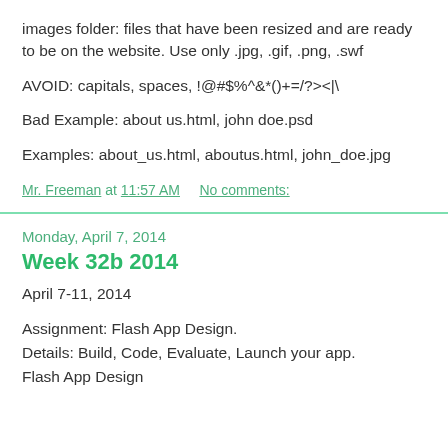images folder: files that have been resized and are ready to be on the website. Use only .jpg, .gif, .png, .swf
AVOID: capitals, spaces, !@#$%^&*()+=/?><|\
Bad Example: about us.html, john doe.psd
Examples: about_us.html, aboutus.html, john_doe.jpg
Mr. Freeman at 11:57 AM     No comments:
Monday, April 7, 2014
Week 32b 2014
April 7-11, 2014
Assignment: Flash App Design.
Details: Build, Code, Evaluate, Launch your app.
Flash App Design